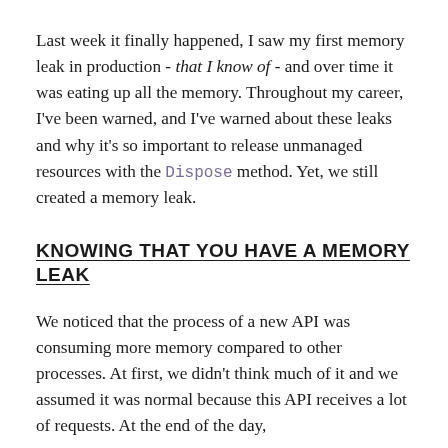Last week it finally happened, I saw my first memory leak in production - that I know of - and over time it was eating up all the memory. Throughout my career, I've been warned, and I've warned about these leaks and why it's so important to release unmanaged resources with the Dispose method. Yet, we still created a memory leak.
KNOWING THAT YOU HAVE A MEMORY LEAK
We noticed that the process of a new API was consuming more memory compared to other processes. At first, we didn't think much of it and we assumed it was normal because this API receives a lot of requests. At the end of the day,